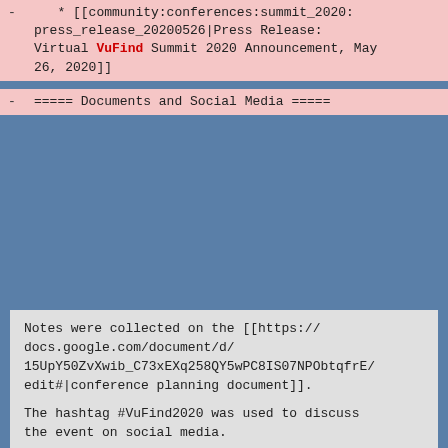* [[community:conferences:summit_2020:press_release_20200526|Press Release: Virtual VuFind Summit 2020 Announcement, May 26, 2020]]
===== Documents and Social Media =====
Notes were collected on the [[https://docs.google.com/document/d/15UpY50ZvXwib_C73xEXq258QY5wPC8IS07NPObtqfrE/edit#|conference planning document]].
The hashtag #VuFind2020 was used to discuss the event on social media.
-
:!: The entire event was recorded; videos will be posted here when editing is complete.
-
===== Merchandise =====